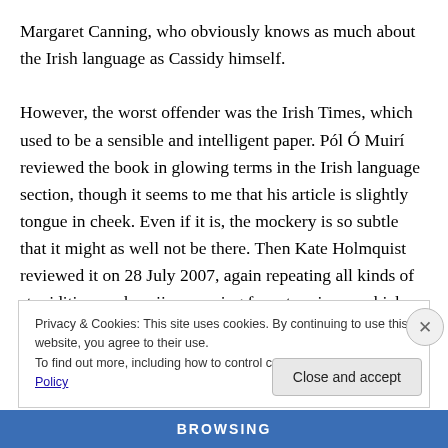Margaret Canning, who obviously knows as much about the Irish language as Cassidy himself.

However, the worst offender was the Irish Times, which used to be a sensible and intelligent paper. Pól Ó Muirí reviewed the book in glowing terms in the Irish language section, though it seems to me that his article is slightly tongue in cheek. Even if it is, the mockery is so subtle that it might as well not be there. Then Kate Holmquist reviewed it on 28 July 2007, again repeating all kinds of stupidities, such as jism coming from teas ioma, which
Privacy & Cookies: This site uses cookies. By continuing to use this website, you agree to their use.
To find out more, including how to control cookies, see here: Cookie Policy
Close and accept